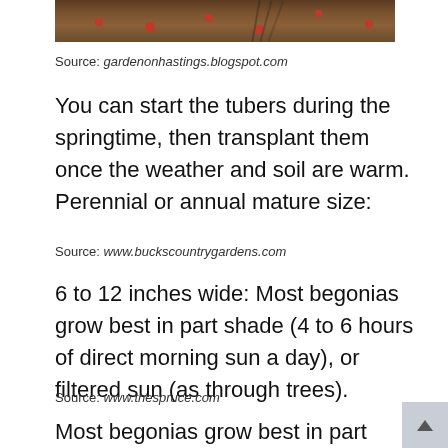[Figure (photo): Top portion of a garden photo showing soil with red berries/flowers and a rake, cropped at the top of the page]
Source: gardenonhastings.blogspot.com
You can start the tubers during the springtime, then transplant them once the weather and soil are warm. Perennial or annual mature size:
Source: www.buckscountrygardens.com
6 to 12 inches wide: Most begonias grow best in part shade (4 to 6 hours of direct morning sun a day), or filtered sun (as through trees).
Source: www.thespruce.com
Most begonias grow best in part shade (4 to 6